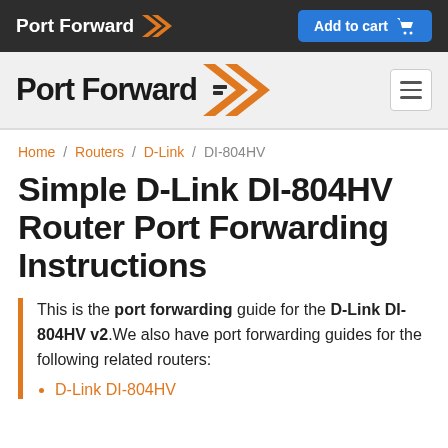Port Forward | Add to cart
[Figure (logo): Port Forward logo with orange double-chevron arrow and dark background navigation bar with Add to cart button]
Home / Routers / D-Link / DI-804HV
Simple D-Link DI-804HV Router Port Forwarding Instructions
This is the port forwarding guide for the D-Link DI-804HV v2. We also have port forwarding guides for the following related routers:
D-Link DI-804HV